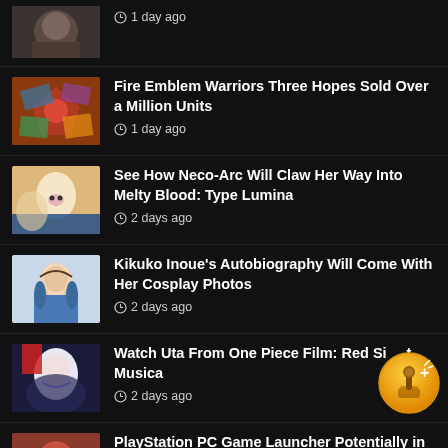[Figure (screenshot): Partial top news item with thumbnail (face photo, cropped) and timestamp '1 day ago']
Fire Emblem Warriors Three Hopes Sold Over a Million Units
1 day ago
See How Neco-Arc Will Claw Her Way Into Melty Blood: Type Lumina
2 days ago
Kikuko Inoue's Autobiography Will Come With Her Cosplay Photos
2 days ago
Watch Uta From One Piece Film: Red Si[ng] Musica
2 days ago
PlayStation PC Game Launcher Potentially in the Works
[Figure (logo): Gold circular badge/achievement icon with joystick and plus sign]